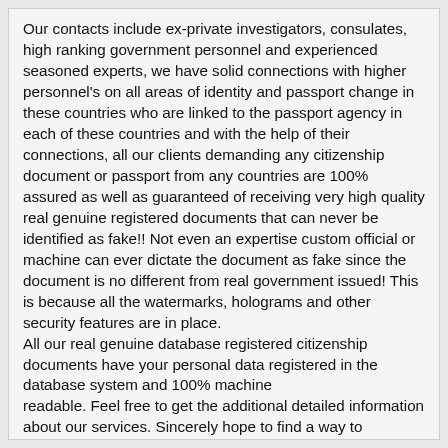Our contacts include ex-private investigators, consulates, high ranking government personnel and experienced seasoned experts, we have solid connections with higher personnel's on all areas of identity and passport change in these countries who are linked to the passport agency in each of these countries and with the help of their
connections, all our clients demanding any citizenship document or passport from any countries are 100% assured as well as guaranteed of receiving very high quality real genuine registered documents that can never be identified as fake!! Not even an expertise custom official or machine can ever dictate the document as fake since the document is no different from real government issued! This is because all the watermarks, holograms and other security features are in place.
All our real genuine database registered citizenship documents have your personal data registered in the database system and 100% machine
readable. Feel free to get the additional detailed information about our services. Sincerely hope to find a way to cooperate with you. If any of these products interest you, please feel free to contact us. We will give you our best price upon received of your detailed inquiry.
Contact